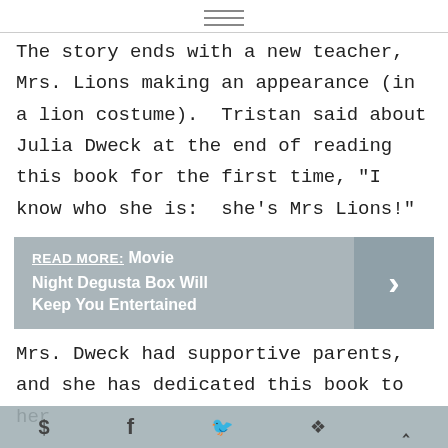≡
The story ends with a new teacher, Mrs. Lions making an appearance (in a lion costume).  Tristan said about Julia Dweck at the end of reading this book for the first time, "I know who she is:  she's Mrs Lions!"
READ MORE:  Movie Night Degusta Box Will Keep You Entertained
Mrs. Dweck had supportive parents, and she has dedicated this book to her